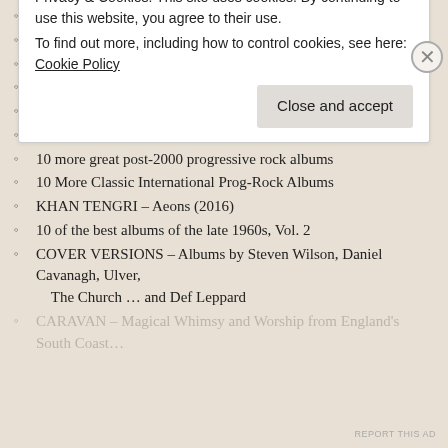CONCERT REVIEW: ANATHEMA in Toronto, August 21, 2017
ANATHEMA – The Optimist (2017)
MICHAEL DILAURO – Spaghetti Western (2016)
TWILIGHT FIELDS – Further Up, Further In! (2016)
10 More Essential British 1970s folk-rock albums
The Tragically Hip and Canada's Fraught Identity
10 more great post-2000 progressive rock albums
10 More Classic International Prog-Rock Albums
KHAN TENGRI – Aeons (2016)
10 of the best albums of the late 1960s, Vol. 2
COVER VERSIONS – Albums by Steven Wilson, Daniel Cavanagh, Ulver, The Church … and Def Leppard
CARAVAN – Magical Whimsy and Worship from England's South Coast…
Privacy & Cookies: This site uses cookies. By continuing to use this website, you agree to their use.
To find out more, including how to control cookies, see here: Cookie Policy
Close and accept
REPORT THIS AD